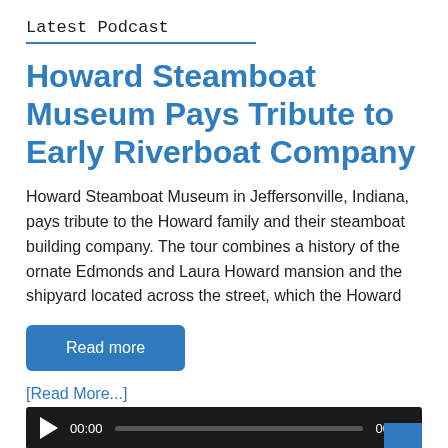Latest Podcast
Howard Steamboat Museum Pays Tribute to Early Riverboat Company
Howard Steamboat Museum in Jeffersonville, Indiana, pays tribute to the Howard family and their steamboat building company. The tour combines a history of the ornate Edmonds and Laura Howard mansion and the shipyard located across the street, which the Howard
Read more
[Read More...]
[Figure (other): Audio player with play button, time display 00:00, progress bar, and end time 00:00 on dark background]
Podcast: Play in new window | Download